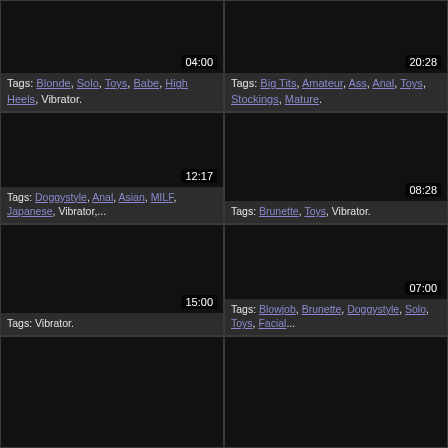[Figure (screenshot): Video thumbnail dark, duration 04:00]
Tags: Blonde, Solo, Toys, Babe, High Heels, Vibrator.
[Figure (screenshot): Video thumbnail dark, duration 20:28]
Tags: Big Tits, Amateur, Ass, Anal, Toys, Stockings, Mature.
[Figure (screenshot): Video thumbnail dark, duration 12:17]
Tags: Doggystyle, Anal, Asian, MILF, Japanese, Vibrator,...
[Figure (screenshot): Video thumbnail dark, duration 08:28]
Tags: Brunette, Toys, Vibrator.
[Figure (screenshot): Video thumbnail dark, duration 15:00]
Tags: Vibrator.
[Figure (screenshot): Video thumbnail dark, duration 07:00]
Tags: Blowjob, Brunette, Doggystyle, Solo, Toys, Facial...
[Figure (screenshot): Video thumbnail dark, partial row]
[Figure (screenshot): Video thumbnail dark, partial row]